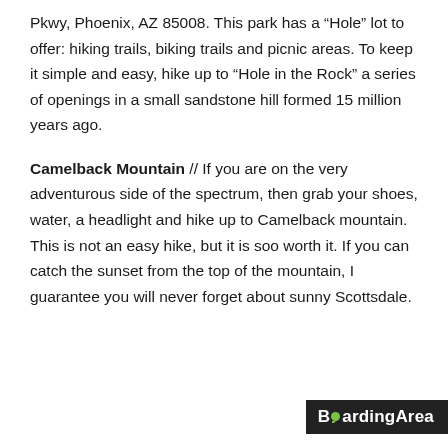Pkwy, Phoenix, AZ 85008. This park has a “Hole” lot to offer: hiking trails, biking trails and picnic areas. To keep it simple and easy, hike up to “Hole in the Rock” a series of openings in a small sandstone hill formed 15 million years ago.
Camelback Mountain // If you are on the very adventurous side of the spectrum, then grab your shoes, water, a headlight and hike up to Camelback mountain. This is not an easy hike, but it is soo worth it. If you can catch the sunset from the top of the mountain, I guarantee you will never forget about sunny Scottsdale.
[Figure (logo): BoardingArea logo — white bold text on dark background with green speech-bubble dot replacing the O in Boarding]